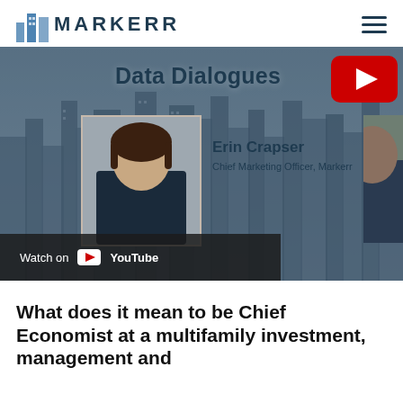MARKERR
[Figure (screenshot): Data Dialogues video thumbnail featuring Erin Crapser, Chief Marketing Officer at Markerr, with a cityscape background, YouTube play button, and a 'Watch on YouTube' bar at the bottom]
What does it mean to be Chief Economist at a multifamily investment, management and